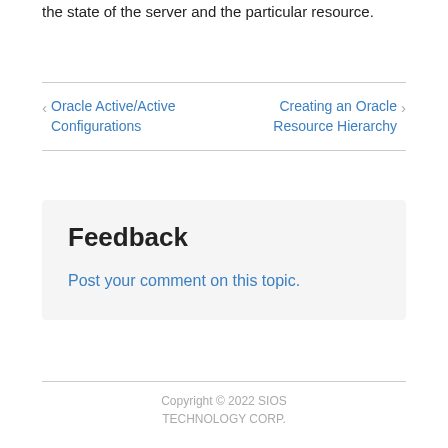the state of the server and the particular resource.
Oracle Active/Active Configurations
Creating an Oracle Resource Hierarchy
Feedback
Post your comment on this topic.
Copyright © 2022 SIOS TECHNOLOGY CORP.